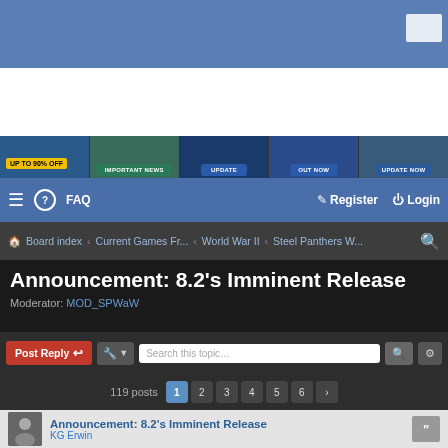[Figure (screenshot): Top blue header banner of a forum website with an envelope/message icon in the top right corner]
[Figure (screenshot): Advertisement banner strip showing 5 game ads: 'UP TO 90% OFF GOODBYE SUMMER SALE', 'IMPORTANT NEWS SCOURGE OF WAR', 'UPDATE DISTANT WORLDS 2', 'OUT NOW COMMAND SHOWCASE QUEEN ELIZABETH', 'UPDATE NOW GARY GRIGSBY EAGLE DAY TO BOMBING THE REICH']
☰  ❓ FAQ    Register  Login
🏠 Board index ‹ Current Games Fr... ‹ World War II ‹ Steel Panthers W...
Announcement: 8.2's Imminent Release
Moderator: MOD_SPWaW
Post Reply  🔧 ▾   Search this topic...  119 posts  1 2 3 4 5 6 ›
Announcement: 8.2's Imminent Release
KG Erwin
Sat May 22, 2004 2:42 pm
Guys, I'm pleased to announce that barring any problems, SPWaW 8.2 will be available for public release within the next two or three days.